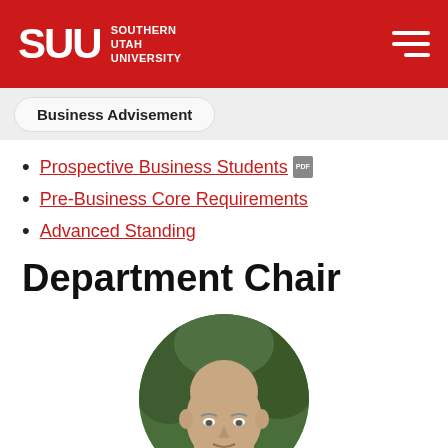SUU Southern Utah University
Business Advisement
Prospective Business Students
Pre-Business Core Requirements
Advanced Standing
Department Chair
[Figure (photo): Circular portrait photo of a bald man, cropped at chest level, with a green outdoor background. Only the upper portion of the face and head are visible.]